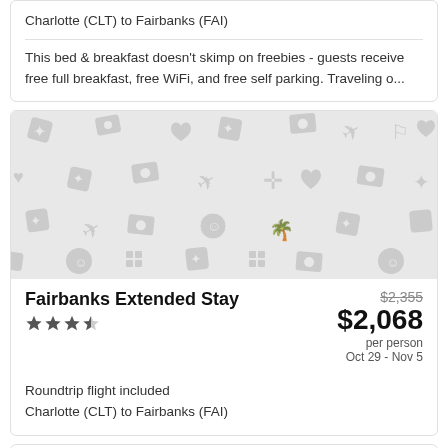Charlotte (CLT) to Fairbanks (FAI)
This bed & breakfast doesn't skimp on freebies - guests receive free full breakfast, free WiFi, and free self parking. Traveling o...
[Figure (photo): Placeholder image with travel-themed icons on a light gray background]
Fairbanks Extended Stay
$2,355 $2,068 per person Oct 29 - Nov 5
Roundtrip flight included
Charlotte (CLT) to Fairbanks (FAI)
Free WiFi in public areas, a garden, and a picnic area are